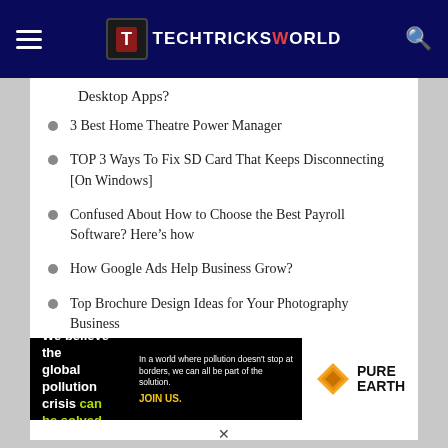TechTricksWorld
Desktop Apps?
3 Best Home Theatre Power Manager
TOP 3 Ways To Fix SD Card That Keeps Disconnecting [On Windows]
Confused About How to Choose the Best Payroll Software? Here’s how
How Google Ads Help Business Grow?
Top Brochure Design Ideas for Your Photography Business
Top 6 Reasons: Why Ruby on Rails is The Best Technology
[Figure (advertisement): Pure Earth advertisement banner: 'We believe the global pollution crisis can be solved. In a world where pollution doesn't stop at borders, we can all be part of the solution. JOIN US.' with Pure Earth diamond logo.]